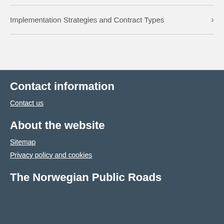Implementation Strategies and Contract Types
Contact information
Contact us
About the website
Sitemap
Privacy policy and cookies
The Norwegian Public Roads